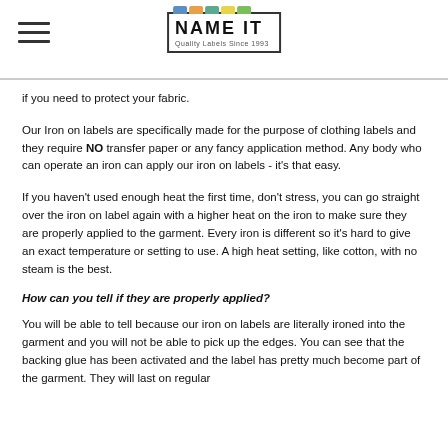NAME IT — Quality Labels Since 1993
if you need to protect your fabric.
Our Iron on labels are specifically made for the purpose of clothing labels and they require NO transfer paper or any fancy application method. Any body who can operate an iron can apply our iron on labels - it's that easy.
If you haven't used enough heat the first time, don't stress, you can go straight over the iron on label again with a higher heat on the iron to make sure they are properly applied to the garment. Every iron is different so it's hard to give an exact temperature or setting to use. A high heat setting, like cotton, with no steam is the best.
How can you tell if they are properly applied?
You will be able to tell because our iron on labels are literally ironed into the garment and you will not be able to pick up the edges. You can see that the backing glue has been activated and the label has pretty much become part of the garment. They will last on regular